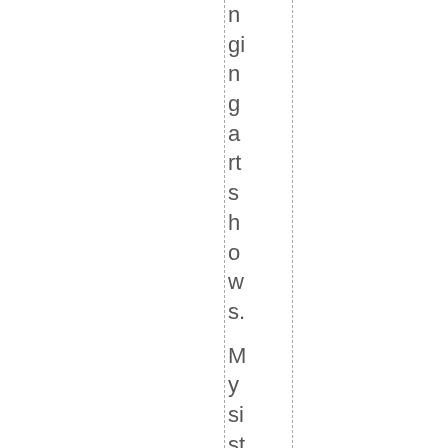nging art shows. My sister has hung